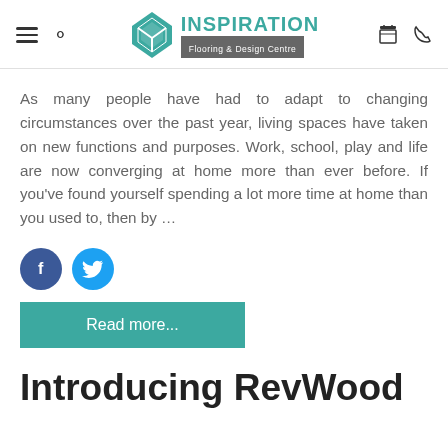Inspiration Flooring & Design Centre
As many people have had to adapt to changing circumstances over the past year, living spaces have taken on new functions and purposes. Work, school, play and life are now converging at home more than ever before. If you've found yourself spending a lot more time at home than you used to, then by …
[Figure (logo): Facebook and Twitter social share icons]
Read more...
Introducing RevWood